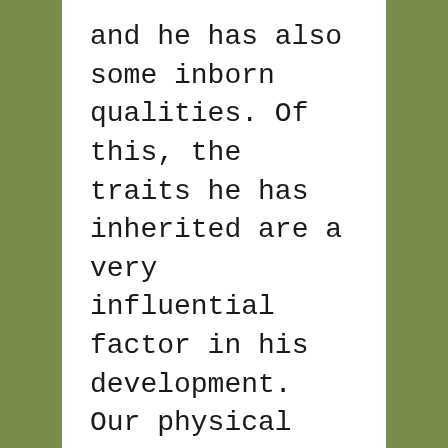and he has also some inborn qualities. Of this, the traits he has inherited are a very influential factor in his development. Our physical structure, color of our eyes, height, even mannerisms are inherited.
It has been found that a child receives 23 pairs of chromosomes from his parents, 23 from mother and 23 from father. Genes present in these chromosomes are carriers of such